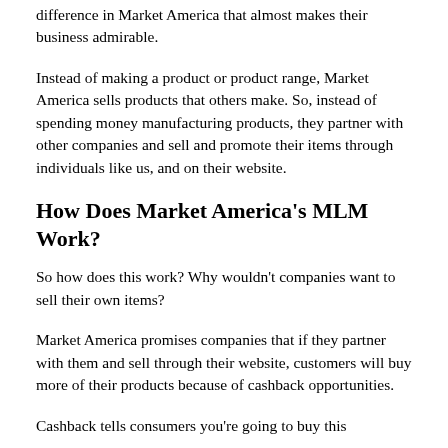difference in Market America that almost makes their business admirable.
Instead of making a product or product range, Market America sells products that others make. So, instead of spending money manufacturing products, they partner with other companies and sell and promote their items through individuals like us, and on their website.
How Does Market America's MLM Work?
So how does this work? Why wouldn't companies want to sell their own items?
Market America promises companies that if they partner with them and sell through their website, customers will buy more of their products because of cashback opportunities.
Cashback tells consumers you're going to buy this